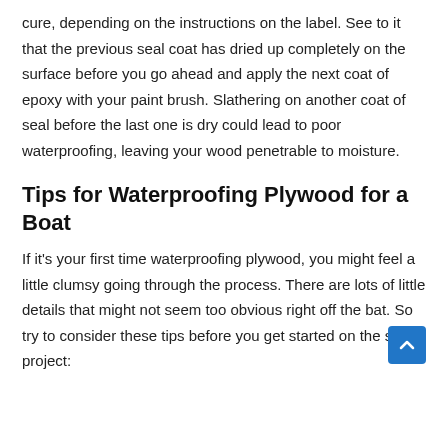cure, depending on the instructions on the label. See to it that the previous seal coat has dried up completely on the surface before you go ahead and apply the next coat of epoxy with your paint brush. Slathering on another coat of seal before the last one is dry could lead to poor waterproofing, leaving your wood penetrable to moisture.
Tips for Waterproofing Plywood for a Boat
If it's your first time waterproofing plywood, you might feel a little clumsy going through the process. There are lots of little details that might not seem too obvious right off the bat. So try to consider these tips before you get started on the seal project: